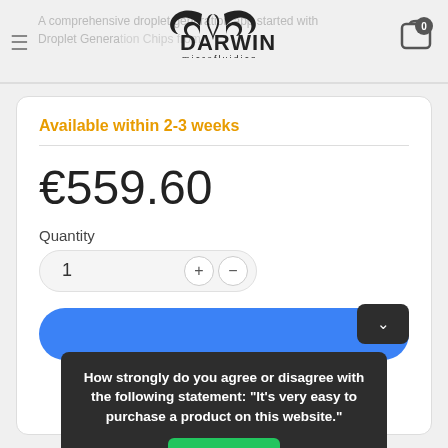A comprehensive droplet generation app started with Droplet Generation Chips from Darwin Microfluidics
Available within 2-3 weeks
€559.60
Quantity
1
How strongly do you agree or disagree with the following statement: "It's very easy to purchase a product on this website."
Reply